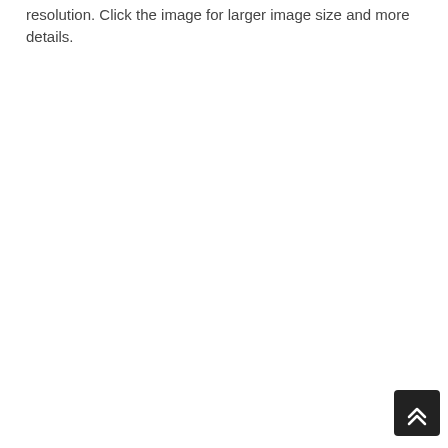resolution. Click the image for larger image size and more details.
[Figure (other): Back to top button — dark rounded square with double chevron up arrow icon]